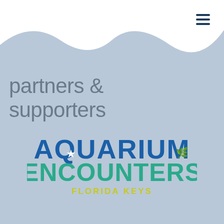[Figure (illustration): White wave shape at top of page over light blue-grey background]
partners & supporters
[Figure (logo): Aquarium Encounters Florida Keys logo. 'AQUARIUM' in bold dark blue with marine icons integrated, 'ENCOUNTERS' in bold teal/green, 'FLORIDA KEYS' in yellow-green bold uppercase letters below.]